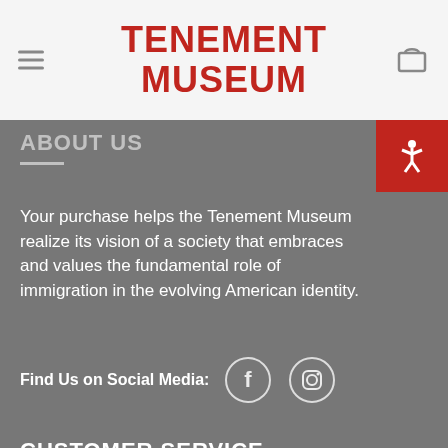TENEMENT MUSEUM
ABOUT US
Your purchase helps the Tenement Museum realize its vision of a society that embraces and values the fundamental role of immigration in the evolving American identity.
Find Us on Social Media:
CUSTOMER SERVICE
Track your order
Shipping
Returns & Exchange